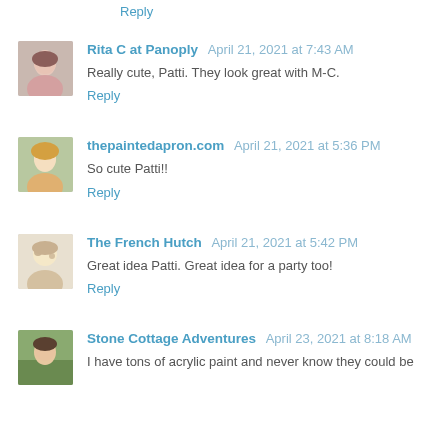Reply
Rita C at Panoply  April 21, 2021 at 7:43 AM
Really cute, Patti. They look great with M-C.
Reply
thepaintedapron.com  April 21, 2021 at 5:36 PM
So cute Patti!!
Reply
The French Hutch  April 21, 2021 at 5:42 PM
Great idea Patti. Great idea for a party too!
Reply
Stone Cottage Adventures  April 23, 2021 at 8:18 AM
I have tons of acrylic paint and never know they could be